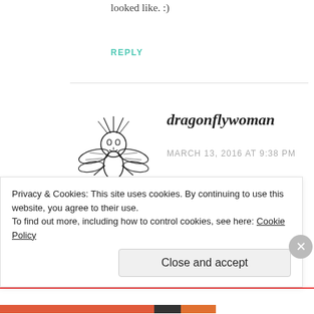looked like. :)
REPLY
[Figure (illustration): Dragonfly woman avatar illustration: a stylized figure with dragonfly wings and wild hair, drawn in black ink]
dragonflywoman
MARCH 13, 2016 AT 9:38 PM
Ah, Midwest. That sounds about right based on my experience visiting my family in that middle
Privacy & Cookies: This site uses cookies. By continuing to use this website, you agree to their use.
To find out more, including how to control cookies, see here: Cookie Policy
Close and accept